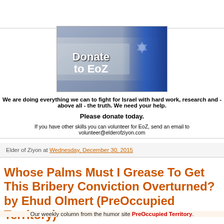[Figure (photo): Donate to EoZ banner image showing Israeli flag with bold text overlay reading 'Donate to EoZ']
We are doing everything we can to fight for Israel with hard work, research and - above all - the truth. We need your help.
Please donate today.
If you have other skills you can volunteer for EoZ, send an email to volunteer@elderofziyon.com
Elder of Ziyon at Wednesday, December 30, 2015
Whose Palms Must I Grease To Get This Bribery Conviction Overturned? by Ehud Olmert (PreOccupied Territory)
Our weekly column from the humor site PreOccupied Territory.